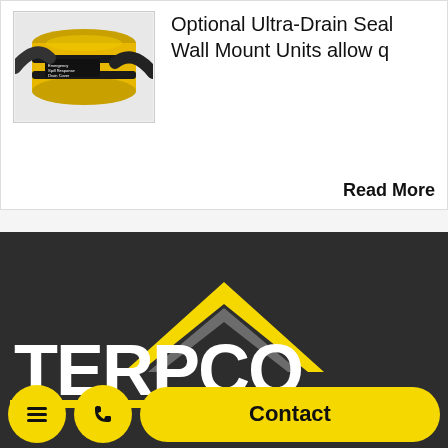[Figure (photo): Photo of a yellow cylindrical drain seal product with black straps/label, being held by gloved hands]
Optional Ultra-Drain Seal Wall Mount Units allow q
Read More
[Figure (logo): TERPCO company logo with yellow chevron/arrow design on dark background, large white bold TERPCO text, yellow horizontal arrow beneath]
Contact